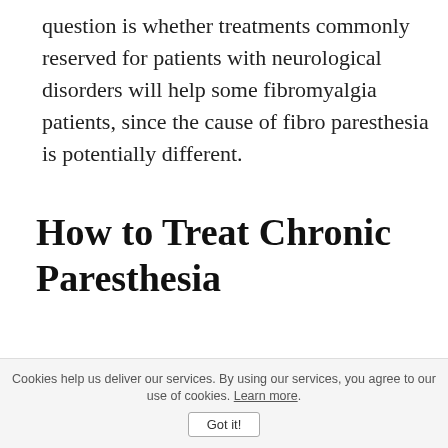question is whether treatments commonly reserved for patients with neurological disorders will help some fibromyalgia patients, since the cause of fibro paresthesia is potentially different.
How to Treat Chronic Paresthesia
Paresthesia is typically relieved by treating the condition causing the discomfort. This is often a herniated disc, spinal column mass, vitamin deficiency, stroke, liver or
Cookies help us deliver our services. By using our services, you agree to our use of cookies. Learn more. Got it!